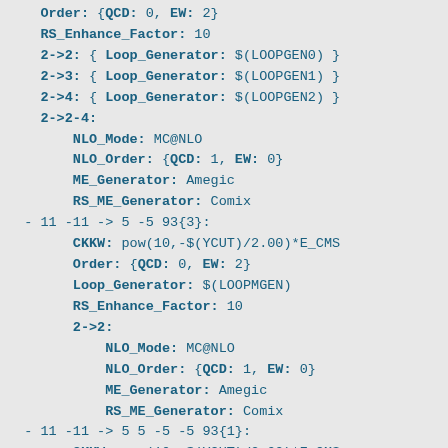Order: {QCD: 0, EW: 2}
    RS_Enhance_Factor: 10
    2->2: { Loop_Generator: $(LOOPGEN0) }
    2->3: { Loop_Generator: $(LOOPGEN1) }
    2->4: { Loop_Generator: $(LOOPGEN2) }
    2->2-4:
        NLO_Mode: MC@NLO
        NLO_Order: {QCD: 1, EW: 0}
        ME_Generator: Amegic
        RS_ME_Generator: Comix
  - 11 -11 -> 5 -5 93{3}:
        CKKW: pow(10,-$(YCUT)/2.00)*E_CMS
        Order: {QCD: 0, EW: 2}
        Loop_Generator: $(LOOPMGEN)
        RS_Enhance_Factor: 10
        2->2:
            NLO_Mode: MC@NLO
            NLO_Order: {QCD: 1, EW: 0}
            ME_Generator: Amegic
            RS_ME_Generator: Comix
  - 11 -11 -> 5 5 -5 -5 93{1}:
        CKKW: pow(10,-$(YCUT)/2.00)*E_CMS
        Order: {QCD: 2, EW: 2}